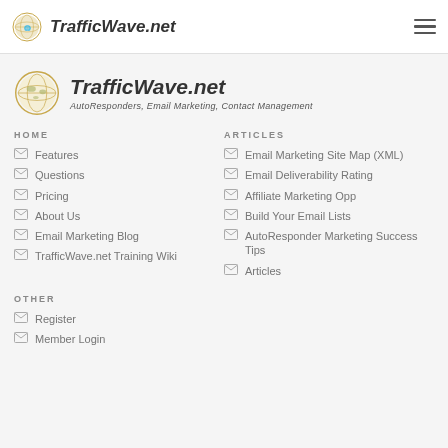TrafficWave.net — navigation bar with logo and hamburger menu
[Figure (logo): TrafficWave.net globe logo with brand name and subtitle: AutoResponders, Email Marketing, Contact Management]
HOME
Features
Questions
Pricing
About Us
Email Marketing Blog
TrafficWave.net Training Wiki
ARTICLES
Email Marketing Site Map (XML)
Email Deliverability Rating
Affiliate Marketing Opp
Build Your Email Lists
AutoResponder Marketing Success Tips
Articles
OTHER
Register
Member Login